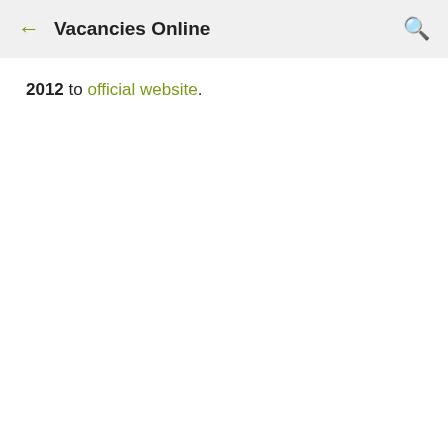Vacancies Online
2012  to official website.